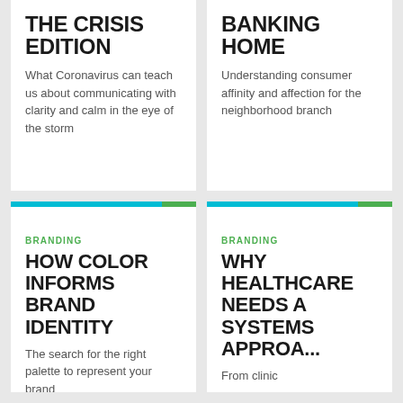THE CRISIS EDITION
What Coronavirus can teach us about communicating with clarity and calm in the eye of the storm
BANKING HOME
Understanding consumer affinity and affection for the neighborhood branch
BRANDING
HOW COLOR INFORMS BRAND IDENTITY
The search for the right palette to represent your brand
BRANDING
WHY HEALTHCARE NEEDS A SYSTEMS APPROA...
From clinic